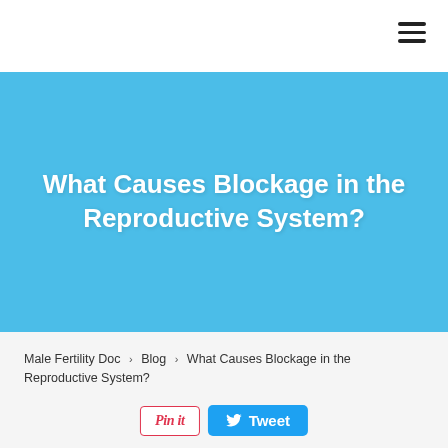What Causes Blockage in the Reproductive System?
Male Fertility Doc > Blog > What Causes Blockage in the Reproductive System?